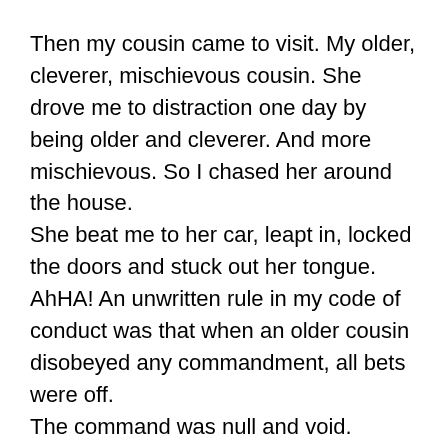Then my cousin came to visit. My older, cleverer, mischievous cousin. She drove me to distraction one day by being older and cleverer. And more mischievous. So I chased her around the house.
She beat me to her car, leapt in, locked the doors and stuck out her tongue.
AhHA! An unwritten rule in my code of conduct was that when an older cousin disobeyed any commandment, all bets were off.
The command was null and void.
I stuck my tongue out at her.
Whereupon she promptly shouted with glee. I heard her through the closed window and knew that somehow something had gone wrong.
“I’m telling! You stuck out your tongue!”